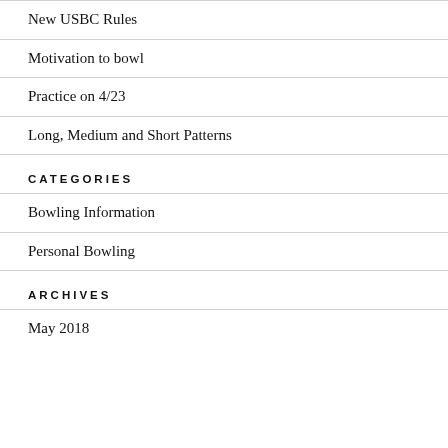New USBC Rules
Motivation to bowl
Practice on 4/23
Long, Medium and Short Patterns
CATEGORIES
Bowling Information
Personal Bowling
ARCHIVES
May 2018